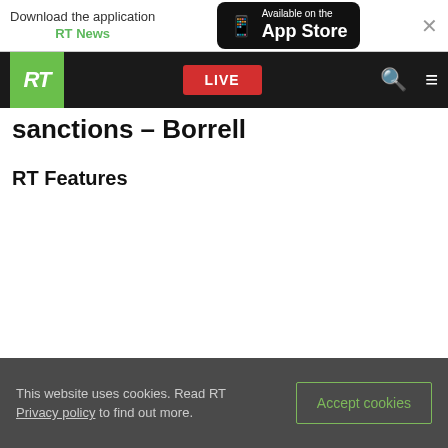Download the application RT News — Available on the App Store
[Figure (screenshot): RT website navigation bar with green RT logo, red LIVE button, search icon, and hamburger menu icon on black background]
sanctions – Borrell
RT Features
This website uses cookies. Read RT Privacy policy to find out more. Accept cookies